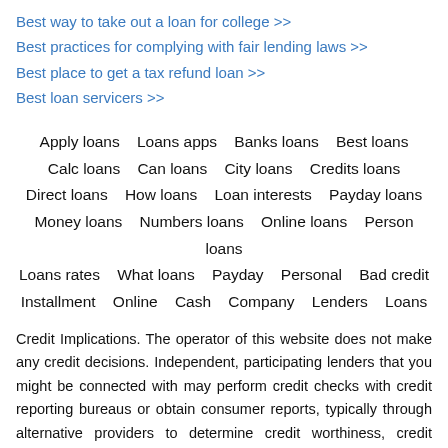Best way to take out a loan for college >>
Best practices for complying with fair lending laws >>
Best place to get a tax refund loan >>
Best loan servicers >>
Apply loans   Loans apps   Banks loans   Best loans   Calc loans   Can loans   City loans   Credits loans   Direct loans   How loans   Loan interests   Payday loans   Money loans   Numbers loans   Online loans   Person loans   Loans rates   What loans   Payday   Personal   Bad credit   Installment   Online   Cash   Company   Lenders   Loans
Credit Implications. The operator of this website does not make any credit decisions. Independent, participating lenders that you might be connected with may perform credit checks with credit reporting bureaus or obtain consumer reports, typically through alternative providers to determine credit worthiness, credit standing and/or credit capacity. By submitting your information, you agree to allow participating lenders to verify your